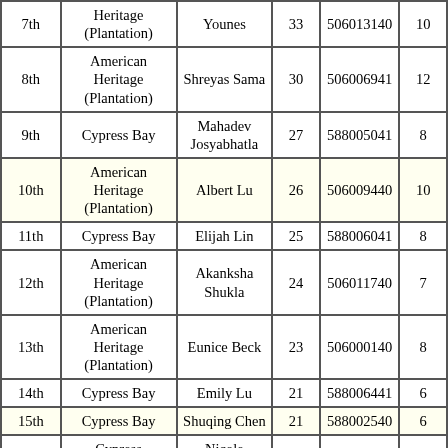| Rank | School | Name | Score | ID | Col6 |
| --- | --- | --- | --- | --- | --- |
| 7th | Heritage (Plantation) | Younes | 33 | 506013140 | 10 |
| 8th | American Heritage (Plantation) | Shreyas Sama | 30 | 506006941 | 12 |
| 9th | Cypress Bay | Mahadev Josyabhatla | 27 | 588005041 | 8 |
| 10th | American Heritage (Plantation) | Albert Lu | 26 | 506009440 | 10 |
| 11th | Cypress Bay | Elijah Lin | 25 | 588006041 | 8 |
| 12th | American Heritage (Plantation) | Akanksha Shukla | 24 | 506011740 | 7 |
| 13th | American Heritage (Plantation) | Eunice Beck | 23 | 506000140 | 8 |
| 14th | Cypress Bay | Emily Lu | 21 | 588006441 | 6 |
| 15th | Cypress Bay | Shuqing Chen | 21 | 588002540 | 6 |
| ... | Cypress | Nicole |  |  |  |